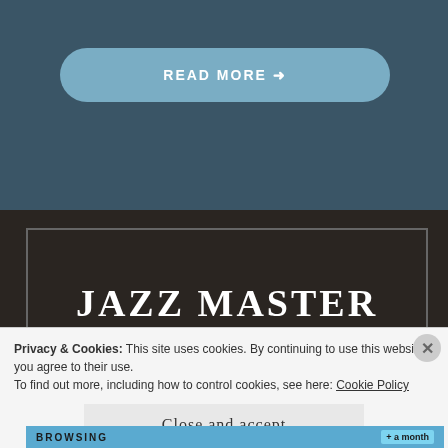READ MORE →
JAZZ MASTER BASSIST BOB
Privacy & Cookies: This site uses cookies. By continuing to use this website, you agree to their use.
To find out more, including how to control cookies, see here: Cookie Policy
Close and accept
BROWSING